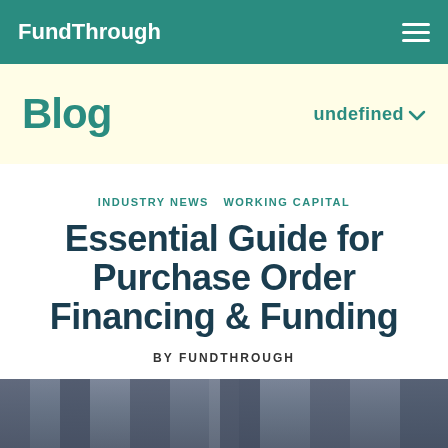FundThrough
Blog      undefined
INDUSTRY NEWS   WORKING CAPITAL
Essential Guide for Purchase Order Financing & Funding
BY FUNDTHROUGH
[Figure (photo): Industrial warehouse or factory interior viewed from a corridor perspective, dark tones with vertical structural elements]